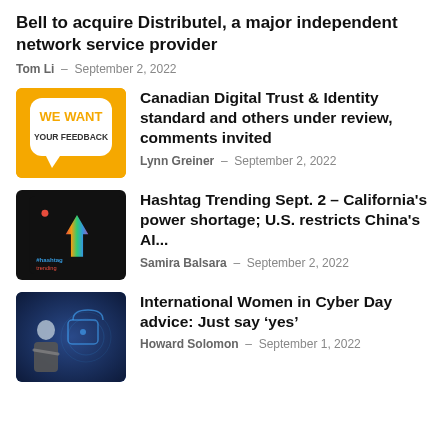Bell to acquire Distributel, a major independent network service provider
Tom Li - September 2, 2022
[Figure (illustration): Yellow square icon with white speech bubble saying WE WANT YOUR FEEDBACK]
Canadian Digital Trust & Identity standard and others under review, comments invited
Lynn Greiner - September 2, 2022
[Figure (illustration): Black square thumbnail with colorful arrow and #hashtag trending text]
Hashtag Trending Sept. 2 – California's power shortage; U.S. restricts China's AI...
Samira Balsara - September 2, 2022
[Figure (photo): Woman in business attire with cybersecurity lock icon in background]
International Women in Cyber Day advice: Just say ‘yes’
Howard Solomon - September 1, 2022